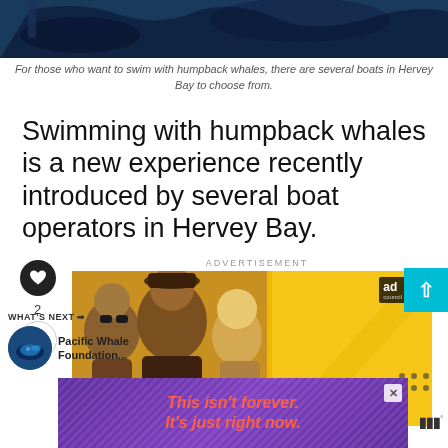[Figure (photo): Underwater photo showing people swimming with humpback whales, dark blue tones]
For those who want to swim with humpback whales, there are several boats in Hervey Bay to choose from.
Swimming with humpback whales is a new experience recently introduced by several boat operators in Hervey Bay.
[Figure (photo): Advertisement banner showing group of happy people laughing on yellow background with text IT'S UP TO YOU and Ad Council badge]
[Figure (photo): Purple advertisement banner with diagonal line pattern and orange italic text: This isn't forever. It's just right now.]
[Figure (photo): What's Next thumbnail showing Pacific Whale Foundation circular image]